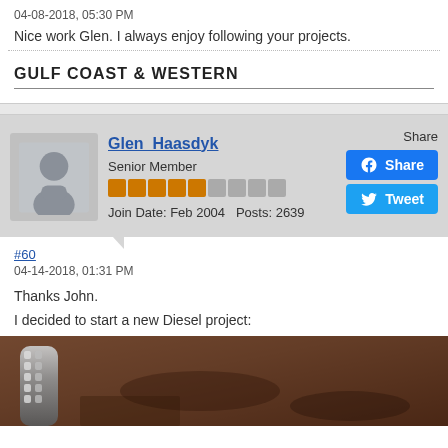04-08-2018, 05:30 PM
Nice work Glen. I always enjoy following your projects.
GULF COAST & WESTERN
Glen_Haasdyk
Senior Member
Join Date: Feb 2004   Posts: 2639
Share
#60
04-14-2018, 01:31 PM
Thanks John.
I decided to start a new Diesel project:
[Figure (photo): Close-up photo of a metal tool on brown/rust colored surface, partially visible at bottom of page]